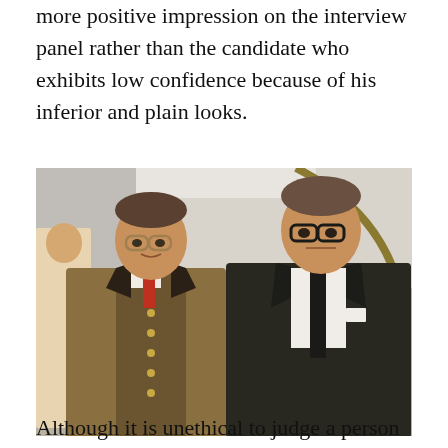more positive impression on the interview panel rather than the candidate who exhibits low confidence because of his inferior and plain looks.
[Figure (photo): Two men wearing glasses posing together indoors. The man on the left wears a brown tweed jacket and red tie, the man on the right wears a dark suit with a black tie and white pocket square.]
Although it is unethical to judge a person on